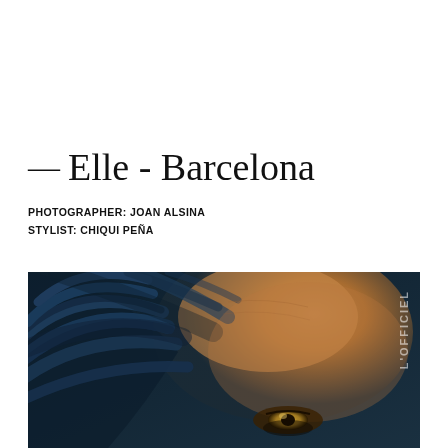— Elle - Barcelona
PHOTOGRAPHER: JOAN ALSINA
STYLIST: CHIQUI PEÑA
[Figure (photo): Close-up editorial fashion photo of a model with dark blue feathers partially covering the face, revealing one golden eye. The image has dramatic dark blue and golden skin tones. L'OFFICIEL watermark visible on the right side.]